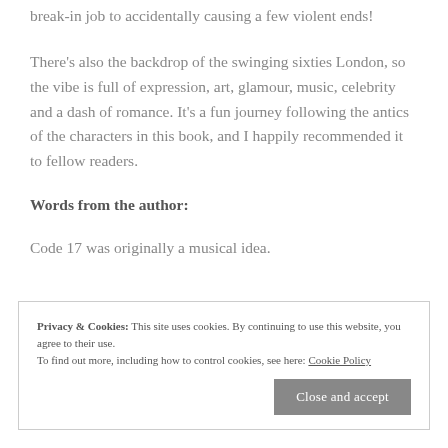break-in job to accidentally causing a few violent ends!
There's also the backdrop of the swinging sixties London, so the vibe is full of expression, art, glamour, music, celebrity and a dash of romance. It's a fun journey following the antics of the characters in this book, and I happily recommended it to fellow readers.
Words from the author:
Code 17 was originally a musical idea.
Privacy & Cookies: This site uses cookies. By continuing to use this website, you agree to their use.
To find out more, including how to control cookies, see here: Cookie Policy
the album was from an imaginary TV series called Code